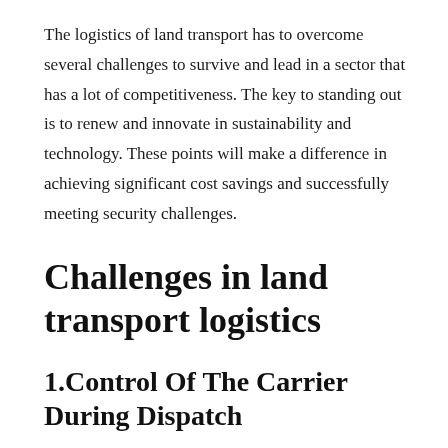The logistics of land transport has to overcome several challenges to survive and lead in a sector that has a lot of competitiveness. The key to standing out is to renew and innovate in sustainability and technology. These points will make a difference in achieving significant cost savings and successfully meeting security challenges.
Challenges in land transport logistics
1.Control Of The Carrier During Dispatch
It is very important to keep a check on the carrier